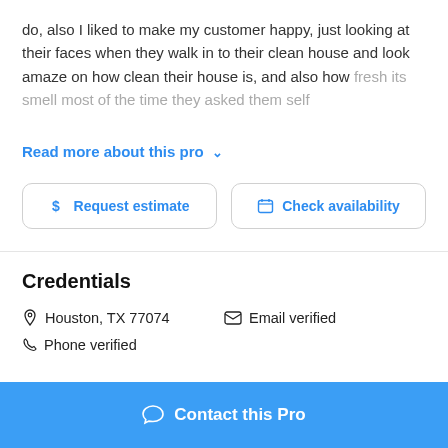do, also I liked to make my customer happy, just looking at their faces when they walk in to their clean house and look amaze on how clean their house is,  and also how fresh its smell  most of the time they asked them self
Read more about this pro ∨
$ Request estimate
Check availability
Credentials
Houston, TX 77074   Email verified
Phone verified
Contact this Pro